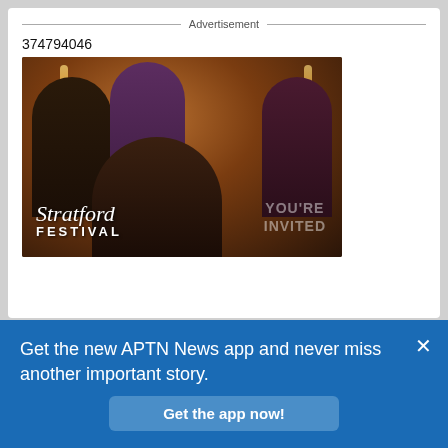Advertisement
374794046
[Figure (photo): Four people dressed in formal attire holding champagne glasses in a warmly lit setting, with Stratford Festival logo and 'YOU'RE INVITED' text overlay]
Get the new APTN News app and never miss another important story.
Get the app now!